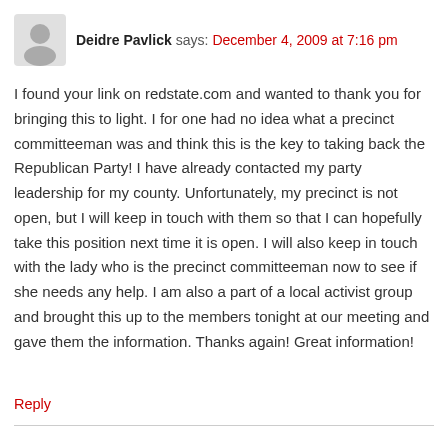Deidre Pavlick says: December 4, 2009 at 7:16 pm
I found your link on redstate.com and wanted to thank you for bringing this to light. I for one had no idea what a precinct committeeman was and think this is the key to taking back the Republican Party! I have already contacted my party leadership for my county. Unfortunately, my precinct is not open, but I will keep in touch with them so that I can hopefully take this position next time it is open. I will also keep in touch with the lady who is the precinct committeeman now to see if she needs any help. I am also a part of a local activist group and brought this up to the members tonight at our meeting and gave them the information. Thanks again! Great information!
Reply